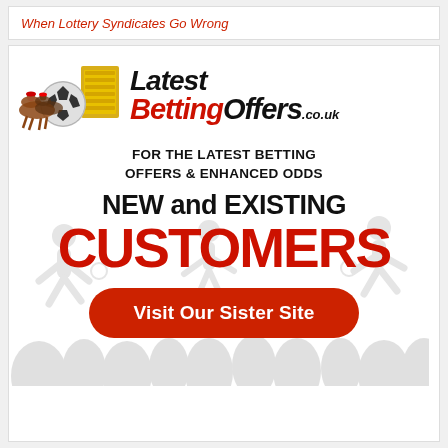When Lottery Syndicates Go Wrong
[Figure (advertisement): Latest BettingOffers.co.uk advertisement banner. Shows logo with horse racing, football and cash imagery. Text: FOR THE LATEST BETTING OFFERS & ENHANCED ODDS. NEW and EXISTING CUSTOMERS. Visit Our Sister Site button.]